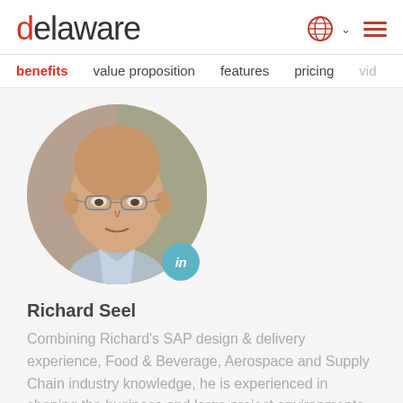delaware
benefits   value proposition   features   pricing   vide
[Figure (photo): Circular profile photo of a middle-aged man with glasses and a LinkedIn badge overlay]
Richard Seel
Combining Richard's SAP design & delivery experience, Food & Beverage, Aerospace and Supply Chain industry knowledge, he is experienced in shaping the business and large project environments for the delivery of